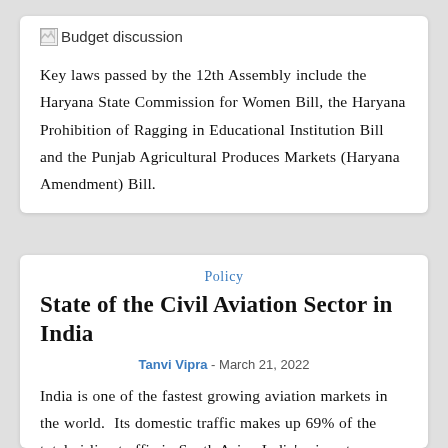[Figure (other): Broken image placeholder labeled 'Budget discussion']
Key laws passed by the 12th Assembly include the Haryana State Commission for Women Bill, the Haryana Prohibition of Ragging in Educational Institution Bill and the Punjab Agricultural Produces Markets (Haryana Amendment) Bill.
Policy
State of the Civil Aviation Sector in India
Tanvi Vipra - March 21, 2022
India is one of the fastest growing aviation markets in the world.  Its domestic traffic makes up 69% of the total airline traffic in South Asia.  India's airport capacity is